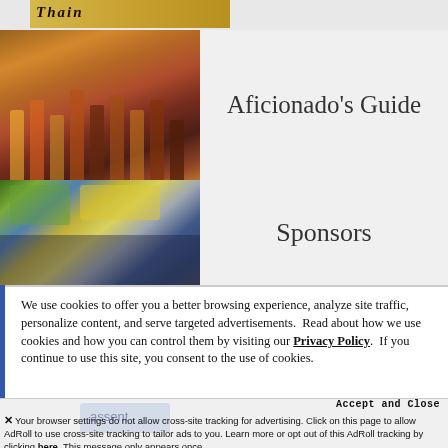[Figure (photo): Partial view of a brewery or beer brand logo/sign at top]
[Figure (photo): Row of beer glasses with various amber, red, and dark beers lined up on a bar]
Aficionado's Guide
[Figure (photo): Outdoor crowd at what appears to be a beer festival with yellow signage]
Sponsors
We use cookies to offer you a better browsing experience, analyze site traffic, personalize content, and serve targeted advertisements.  Read about how we use cookies and how you can control them by visiting our Privacy Policy.  If you continue to use this site, you consent to the use of cookies.
Accept and Close
Your browser settings do not allow cross-site tracking for advertising. Click on this page to allow AdRoll to use cross-site tracking to tailor ads to you. Learn more or opt out of this AdRoll tracking by clicking here. This message only appears once.